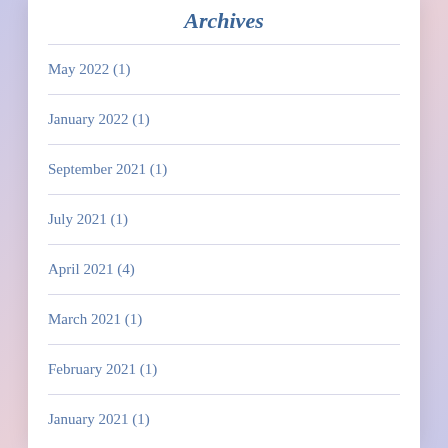Archives
May 2022 (1)
January 2022 (1)
September 2021 (1)
July 2021 (1)
April 2021 (4)
March 2021 (1)
February 2021 (1)
January 2021 (1)